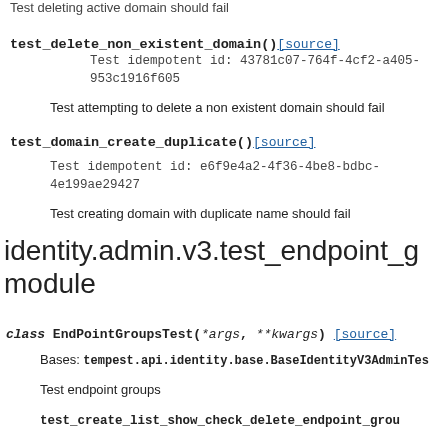Test deleting active domain should fail
test_delete_non_existent_domain()
Test idempotent id: 43781c07-764f-4cf2-a405-953c1916f605
Test attempting to delete a non existent domain should fail
test_domain_create_duplicate()
Test idempotent id: e6f9e4a2-4f36-4be8-bdbc-4e199ae29427
Test creating domain with duplicate name should fail
identity.admin.v3.test_endpoint_g module
class EndPointGroupsTest(*args, **kwargs)
Bases: tempest.api.identity.base.BaseIdentityV3AdminTest
Test endpoint groups
test_create_list_show_check_delete_endpoint_grou